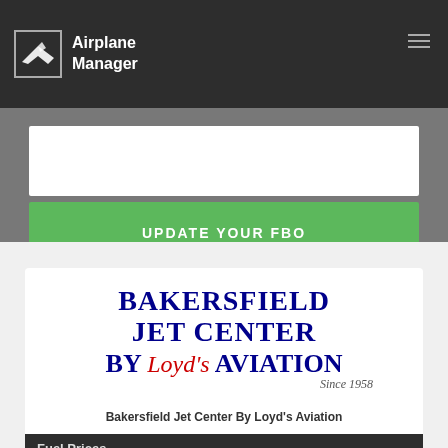Airplane Manager
[Figure (screenshot): Airplane Manager logo with airplane icon in a bordered box]
UPDATE YOUR FBO
[Figure (logo): Bakersfield Jet Center By Loyd's Aviation logo with text and 'Since 1958']
Bakersfield Jet Center By Loyd's Aviation
Fuel Prices